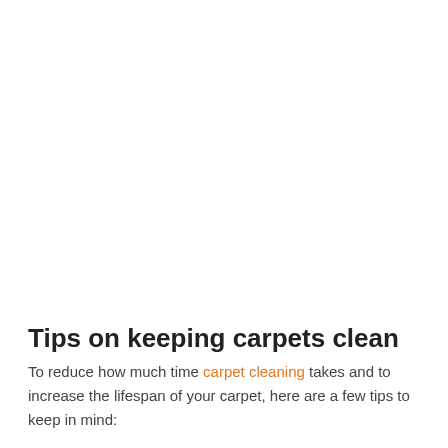Tips on keeping carpets clean
To reduce how much time carpet cleaning takes and to increase the lifespan of your carpet, here are a few tips to keep in mind: